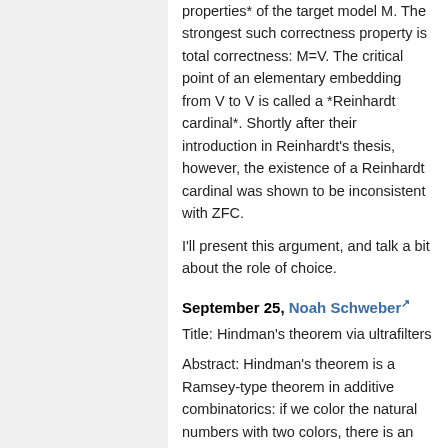properties* of the target model M. The strongest such correctness property is total correctness: M=V. The critical point of an elementary embedding from V to V is called a *Reinhardt cardinal*. Shortly after their introduction in Reinhardt's thesis, however, the existence of a Reinhardt cardinal was shown to be inconsistent with ZFC.
I'll present this argument, and talk a bit about the role of choice.
September 25, Noah Schweber
Title: Hindman's theorem via ultrafilters
Abstract: Hindman's theorem is a Ramsey-type theorem in additive combinatorics: if we color the natural numbers with two colors, there is an infinite set such that all finite sums...